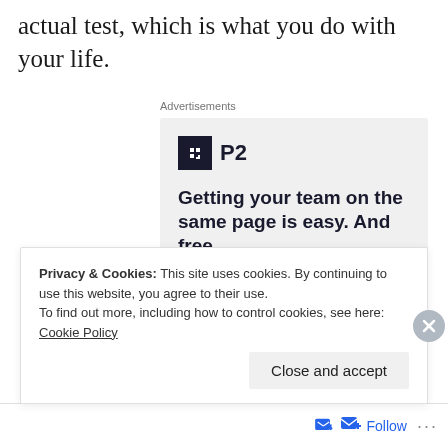actual test, which is what you do with your life.
Advertisements
[Figure (screenshot): P2 advertisement: 'Getting your team on the same page is easy. And free.' with logo and user avatars]
Privacy & Cookies: This site uses cookies. By continuing to use this website, you agree to their use.
To find out more, including how to control cookies, see here: Cookie Policy
Close and accept
Follow